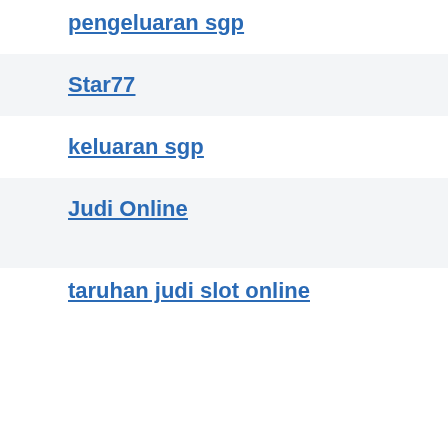pengeluaran sgp
Star77
keluaran sgp
Judi Online
taruhan judi slot online